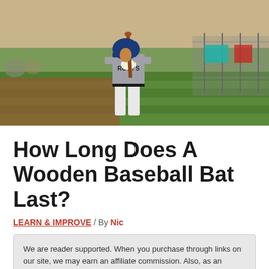[Figure (photo): Baseball player in 'Roots' jersey holding a bat, standing at the plate on a baseball field. Player wears a blue helmet and white pants. Background shows a green outfield, red dirt, and a chain-link fence.]
How Long Does A Wooden Baseball Bat Last?
LEARN & IMPROVE / By Nic
We are reader supported. When you purchase through links on our site, we may earn an affiliate commission. Also, as an Amazon affiliate, we earn from qualifying purchases.